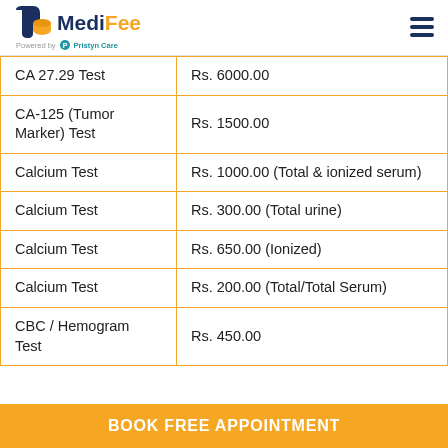MediFee - Powered by Pristyn Care
| Test Name | Price |
| --- | --- |
| CA 27.29 Test | Rs. 6000.00 |
| CA-125 (Tumor Marker) Test | Rs. 1500.00 |
| Calcium Test | Rs. 1000.00 (Total & ionized serum) |
| Calcium Test | Rs. 300.00 (Total urine) |
| Calcium Test | Rs. 650.00 (Ionized) |
| Calcium Test | Rs. 200.00 (Total/Total Serum) |
| CBC / Hemogram Test | Rs. 450.00 |
BOOK FREE APPOINTMENT